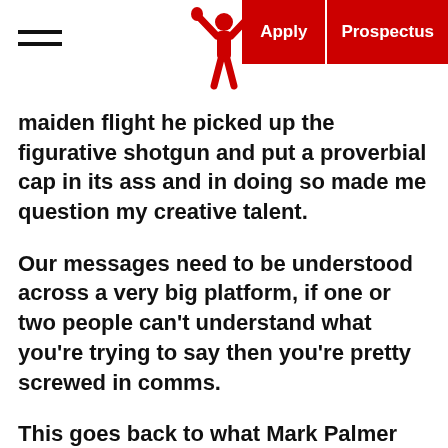Menu | [Logo] | Apply | Prospectus
maiden flight he picked up the figurative shotgun and put a proverbial cap in its ass and in doing so made me question my creative talent.
Our messages need to be understood across a very big platform, if one or two people can't understand what you're trying to say then you're pretty screwed in comms.
This goes back to what Mark Palmer was saying about Sun and Rain – I think there has been some sun trying to break through my rain clouds. A lot has been said to me these last four weeks and I'm becoming more mindful and conscious to what